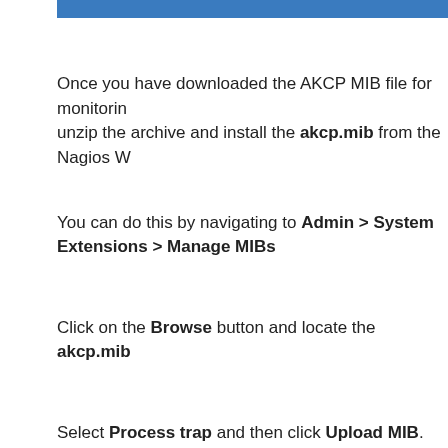[Figure (other): Blue horizontal bar at top of page]
Once you have downloaded the AKCP MIB file for monitoring, unzip the archive and install the akcp.mib from the Nagios W
You can do this by navigating to Admin > System Extensions > Manage MIBs
Click on the Browse button and locate the akcp.mib
Select Process trap and then click Upload MIB.
To verify that your MIB file was processed correctly by Nagios, akcp.mib file is located in
/usr/share/snmp/mibs
Run the addmib command from the command line of your N